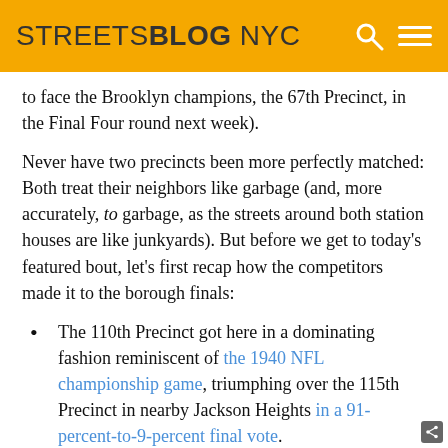STREETSBLOG NYC
to face the Brooklyn champions, the 67th Precinct, in the Final Four round next week).
Never have two precincts been more perfectly matched: Both treat their neighbors like garbage (and, more accurately, to garbage, as the streets around both station houses are like junkyards). But before we get to today’s featured bout, let’s first recap how the competitors made it to the borough finals:
The 110th Precinct got here in a dominating fashion reminiscent of the 1940 NFL championship game, triumphing over the 115th Precinct in nearby Jackson Heights in a 91-percent-to-9-percent final vote.